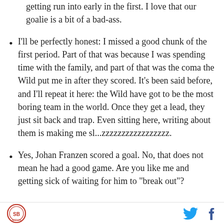getting run into early in the first. I love that our goalie is a bit of a bad-ass.
I'll be perfectly honest: I missed a good chunk of the first period. Part of that was because I was spending time with the family, and part of that was the coma the Wild put me in after they scored. It's been said before, and I'll repeat it here: the Wild have got to be the most boring team in the world. Once they get a lead, they just sit back and trap. Even sitting here, writing about them is making me sl...zzzzzzzzzzzzzzzzz.
Yes, Johan Franzen scored a goal. No, that does not mean he had a good game. Are you like me and getting sick of waiting for him to "break out"?